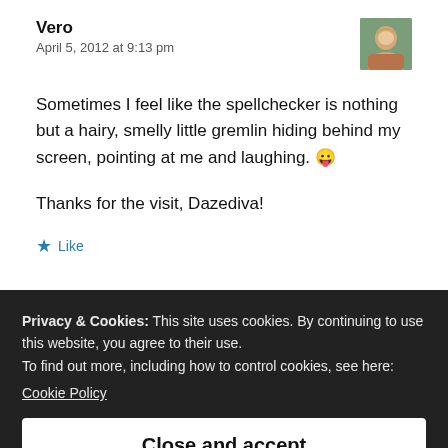Vero
April 5, 2012 at 9:13 pm
[Figure (photo): Avatar photo of Vero — woman with blonde hair]
Sometimes I feel like the spellchecker is nothing but a hairy, smelly little gremlin hiding behind my screen, pointing at me and laughing. 😛
Thanks for the visit, Dazediva!
★ Like
Privacy & Cookies: This site uses cookies. By continuing to use this website, you agree to their use.
To find out more, including how to control cookies, see here:
Cookie Policy
Close and accept
Loved this very creative post! Thanks for making me smile